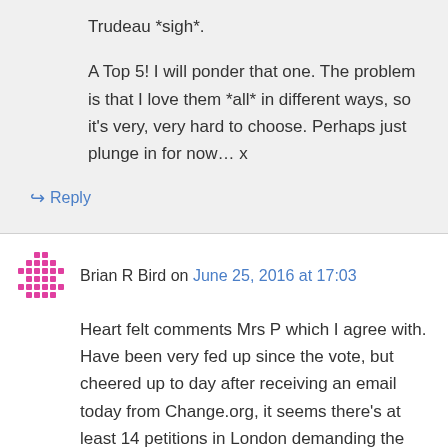Trudeau *sigh*.
A Top 5! I will ponder that one. The problem is that I love them *all* in different ways, so it's very, very hard to choose. Perhaps just plunge in for now… x
↳ Reply
Brian R Bird on June 25, 2016 at 17:03
Heart felt comments Mrs P which I agree with. Have been very fed up since the vote, but cheered up to day after receiving an email today from Change.org, it seems there's at least 14 petitions in London demanding the mayor declare London independent, & join the EU!